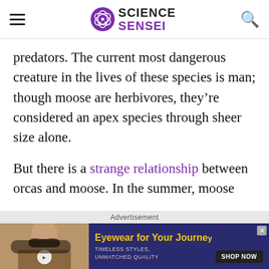SCIENCE SENSEI
predators. The current most dangerous creature in the lives of these species is man; though moose are herbivores, they're considered an apex species through sheer size alone.
But there is a strange relationship between orcas and moose. In the summer, moose
Advertisement
[Figure (photo): Advertisement banner: Man wearing sunglasses with text 'Eyewear for Your Journey. Timeless Styles, Unmatched Quality. Shop Now.']